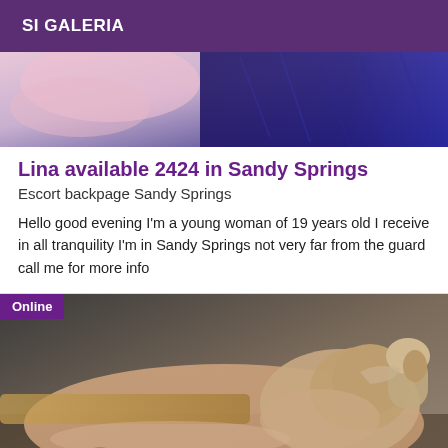SI GALERIA
[Figure (photo): Partial body photo with purple/blue tones, top portion of a listing card]
Lina available 2424 in Sandy Springs
Escort backpage Sandy Springs
Hello good evening I'm a young woman of 19 years old I receive in all tranquility I'm in Sandy Springs not very far from the guard call me for more info
[Figure (photo): Woman lying on massage table, relaxing with eyes closed, warm spa setting, with Online badge overlay]